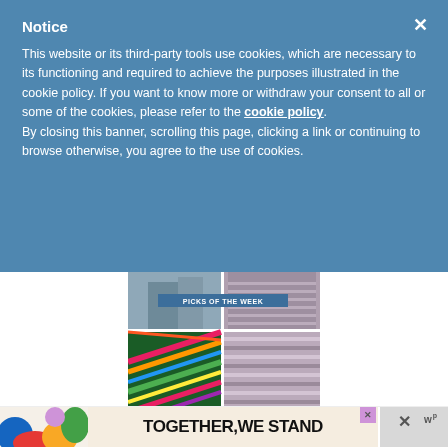Notice
This website or its third-party tools use cookies, which are necessary to its functioning and required to achieve the purposes illustrated in the cookie policy. If you want to know more or withdraw your consent to all or some of the cookies, please refer to the cookie policy. By closing this banner, scrolling this page, clicking a link or continuing to browse otherwise, you agree to the use of cookies.
[Figure (photo): Collage of knitting/craft items with 'PICKS OF THE WEEK' label overlay. Shows colorful yarn, striped knitted fabric, and close-up textile details in a grid layout.]
[Figure (infographic): Advertisement banner reading 'TOGETHER, WE STAND' with colorful design elements on the left, close buttons on the right.]